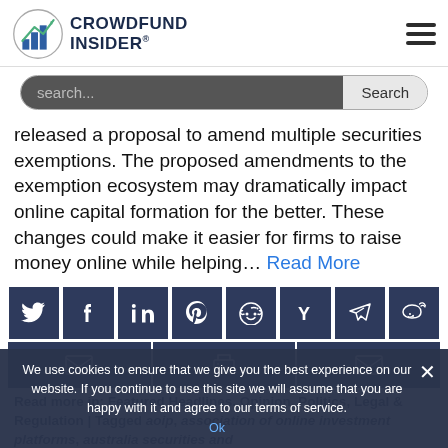CROWDFUND INSIDER
released a proposal to amend multiple securities exemptions. The proposed amendments to the exemption ecosystem may dramatically impact online capital formation for the better. These changes could make it easier for firms to raise money online while helping… Read More
[Figure (other): Social media share buttons: Twitter, Facebook, LinkedIn, Pinterest, Reddit, Hacker News (Y), Telegram, Weibo, Email, Print, Email]
Read more in: Featured Headlines, Opinion, Politics, Legal & Regulation | Tagged aoip, association of online investment platforms, australia securities and
We use cookies to ensure that we give you the best experience on our website. If you continue to use this site we will assume that you are happy with it and agree to our terms of service. Ok